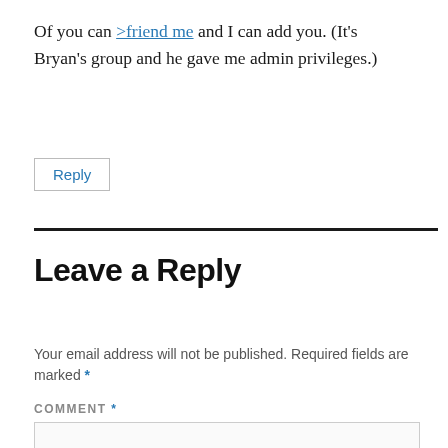Of you can >friend me and I can add you. (It's Bryan's group and he gave me admin privileges.)
Reply
Leave a Reply
Your email address will not be published. Required fields are marked *
COMMENT *